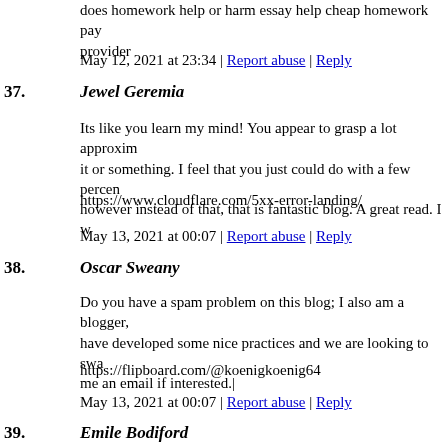does homework help or harm essay help cheap homework pay provider
May 12, 2021 at 23:34 | Report abuse | Reply
37. Jewel Geremia
Its like you learn my mind! You appear to grasp a lot approximately it or something. I feel that you just could do with a few percent however instead of that, that is fantastic blog. A great read. I w
https://www.cloudflare.com/5xx-error-landing/
May 13, 2021 at 00:07 | Report abuse | Reply
38. Oscar Sweany
Do you have a spam problem on this blog; I also am a blogger, have developed some nice practices and we are looking to swa me an email if interested.|
https://flipboard.com/@koenigkoenig64
May 13, 2021 at 00:07 | Report abuse | Reply
39. Emile Bodiford
Your mode of telling the whole thing in this piece of writing is of it. Thanks a lot.|